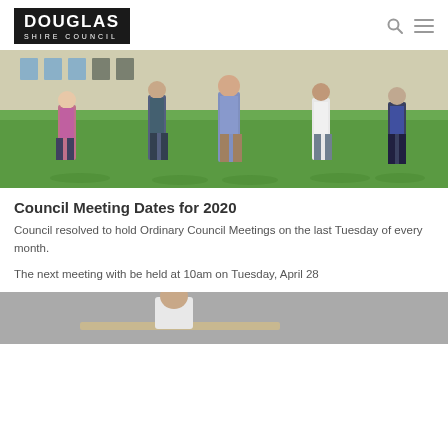Douglas Shire Council
[Figure (photo): Five council members standing socially distanced on a lawn in front of a building. One woman in a floral dress on the left, three men in the center and right, and one woman in a dark outfit on the far right.]
Council Meeting Dates for 2020
Council resolved to hold Ordinary Council Meetings on the last Tuesday of every month.
The next meeting with be held at 10am on Tuesday, April 28
[Figure (photo): Partial photo at bottom of page showing a person seated at what appears to be a council meeting table.]